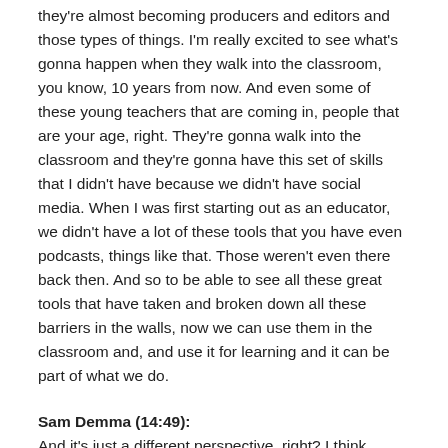they're almost becoming producers and editors and those types of things. I'm really excited to see what's gonna happen when they walk into the classroom, you know, 10 years from now. And even some of these young teachers that are coming in, people that are your age, right. They're gonna walk into the classroom and they're gonna have this set of skills that I didn't have because we didn't have social media. When I was first starting out as an educator, we didn't have a lot of these tools that you have even podcasts, things like that. Those weren't even there back then. And so to be able to see all these great tools that have taken and broken down all these barriers in the walls, now we can use them in the classroom and, and use it for learning and it can be part of what we do.
Sam Demma (14:49): And it's just a different perspective, right? I think having access to different schools, going through different